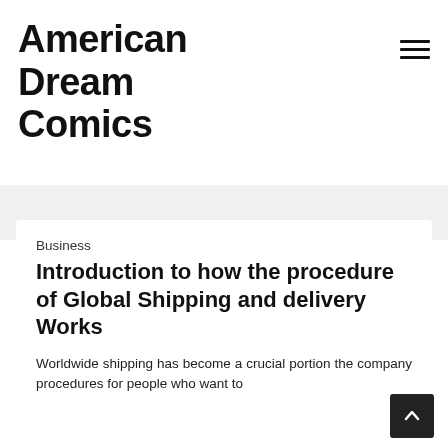American Dream Comics
Business
Introduction to how the procedure of Global Shipping and delivery Works
Worldwide shipping has become a crucial portion the company procedures for people who want to